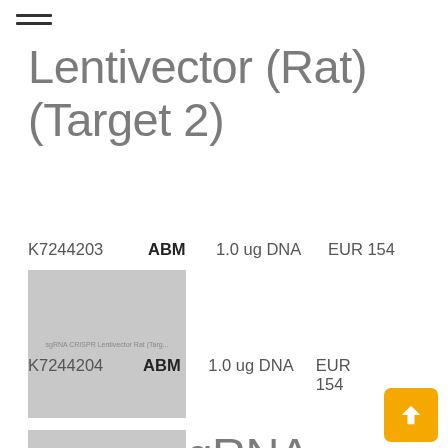☰
Lentivector (Rat) (Target 2)
K7244203   ABM   1.0 ug DNA   EUR 154
[Figure (photo): Product image placeholder for sgRNA CRISPR Lentivector Rat Target 2]
Pearl sgRNA CRISPR Lentivector (Rat) (Target 3)
K7244204   ABM   1.0 ug DNA   EUR 154